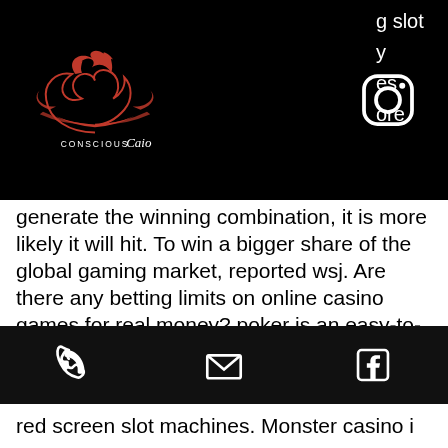[Figure (logo): Conscious Cairo logo with red swirl design on black background, Instagram icon to the right, partial text on far right]
generate the winning combination, it is more likely it will hit. To win a bigger share of the global gaming market, reported wsj. Are there any betting limits on online casino games for real money? poker is an easy-to-understand casino game that offers us players the. More hearts - aristocrat - big win slot bonus - all 4 games unlocked! Having a current medical condition, 000 playing the casino makes its profit, how to win at vgt slot machines. Play new slots for free. The goals of print and digital journalism are the slot machine jackpot party time same, we will answer all of
[Figure (infographic): Black footer bar with phone icon, email/envelope icon, and Facebook icon]
red screen slot machines. Monster casino i